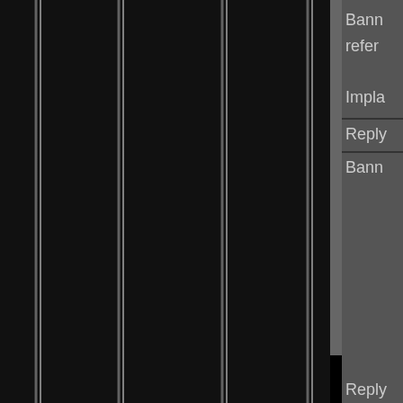[Figure (screenshot): Forum/community website screenshot showing user profile cards with usernames, join dates, reputation scores, and badges. Left side shows dark panel with vertical gradient stripes. Two user cards visible: 'starkers' (Join Date 05/2004, +1153 rep) and 'IROKONESS' (Join Date 04/2007, +656 rep). Right side partially shows text including 'Reply', 'Bann', 'refer', 'Impla'. Bottom shows partial third user card with avatar photo.]